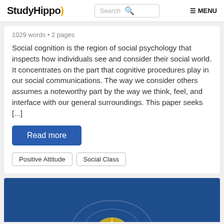StudyHippo
1029 words • 2 pages
Social cognition is the region of social psychology that inspects how individuals see and consider their social world. It concentrates on the part that cognitive procedures play in our social communications. The way we consider others assumes a noteworthy part by the way we think, feel, and interface with our general surroundings. This paper seeks [...]
Read more
Positive Attitude
Social Class
[Figure (illustration): Blue card with circular decorative element at the bottom of the page]